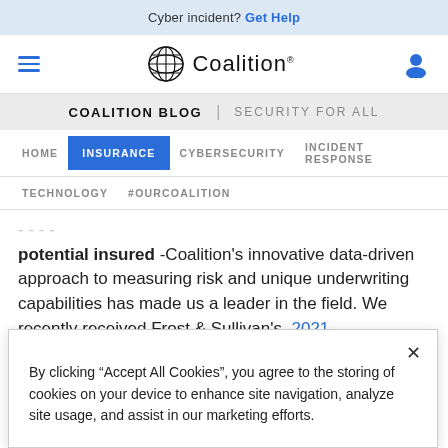Cyber incident? Get Help
[Figure (logo): Coalition logo with globe icon and wordmark]
COALITION BLOG | SECURITY FOR ALL
HOME | INSURANCE | CYBERSECURITY | INCIDENT RESPONSE
TECHNOLOGY | #OURCOALITION
potential insured -Coalition's innovative data-driven approach to measuring risk and unique underwriting capabilities has made us a leader in the field. We recently received Frost & Sullivan's 2021
By clicking “Accept All Cookies”, you agree to the storing of cookies on your device to enhance site navigation, analyze site usage, and assist in our marketing efforts.